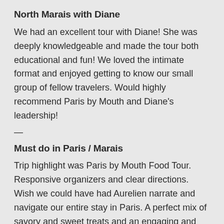North Marais with Diane
We had an excellent tour with Diane! She was deeply knowledgeable and made the tour both educational and fun! We loved the intimate format and enjoyed getting to know our small group of fellow travelers. Would highly recommend Paris by Mouth and Diane's leadership!
—
Must do in Paris / Marais
Trip highlight was Paris by Mouth Food Tour. Responsive organizers and clear directions. Wish we could have had Aurelien narrate and navigate our entire stay in Paris. A perfect mix of savory and sweet treats and an engaging and informative presentation exploring a fun area in North Marais. Not to be missed. Will book